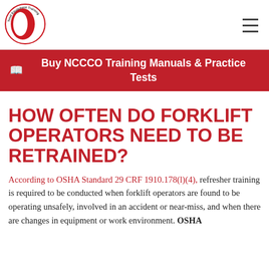[Figure (logo): Total Equipment Training circular logo with red and white design and text around the border]
Buy NCCCO Training Manuals & Practice Tests
HOW OFTEN DO FORKLIFT OPERATORS NEED TO BE RETRAINED?
According to OSHA Standard 29 CRF 1910.178(l)(4), refresher training is required to be conducted when forklift operators are found to be operating unsafely, involved in an accident or near-miss, and when there are changes in equipment or work environment. OSHA